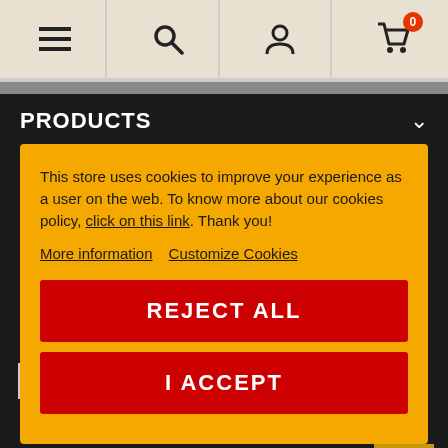[Figure (screenshot): Website navigation bar with hamburger menu, search, user, and cart (badge: 0) icons on a beige background]
PRODUCTS
This store uses cookies to improve your experience as a user on the web. To know more about our cookies policy, click on this link. Thank you!
More information   Customize Cookies
REJECT ALL
I ACCEPT
Please read what personal data we may collect from you when you use our Services and our Data Protection Policy.
[Figure (illustration): Social media icons: Facebook (blue circle), YouTube (red circle), Pinterest (red circle), Instagram (gradient circle)]